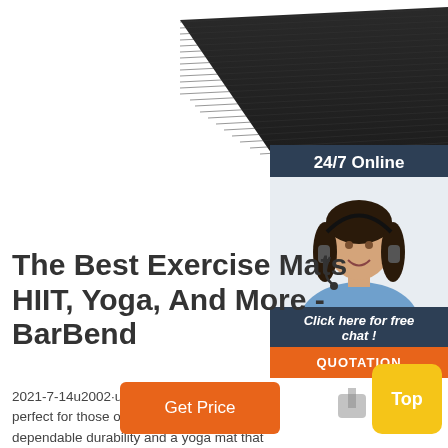[Figure (photo): Dark black exercise mat / yoga mat product photo, viewed at slight angle]
[Figure (infographic): 24/7 Online chat widget panel with woman wearing headset, 'Click here for free chat!' text, and orange QUOTATION button]
The Best Exercise Mats HIIT, Yoga, And More - BarBend
2021-7-14u2002·u2002The Rogue Yoga Mat is perfect for those on the hunt for a solid dependable durability and a yoga mat that the road with you when you do. It's non-slip and should hold up session ...
[Figure (other): Orange 'Get Price' button]
[Figure (other): Yellow 'Top' button with scroll-to-top icon]